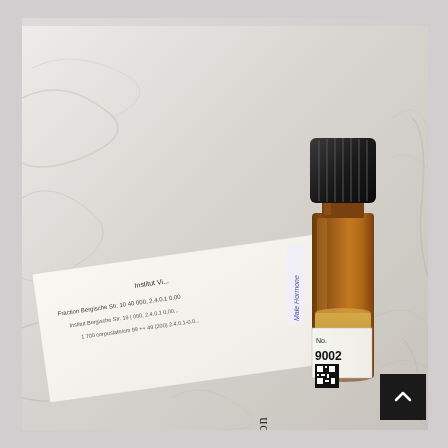[Figure (photo): A plastic zip-lock bag containing a small amber glass vial with a dark brown screw cap and a label showing 'No. 9002' with a QR code, along with printed paper insert/label inside the bag. The bag appears to be a laboratory sample packaging. Text on insert includes 'Institut Vi...', 'Fraction Bergische Str. 10...' and rotated text reading 'variton' and 'Male Hormone'. The vial contains a light amber/yellowish substance.]